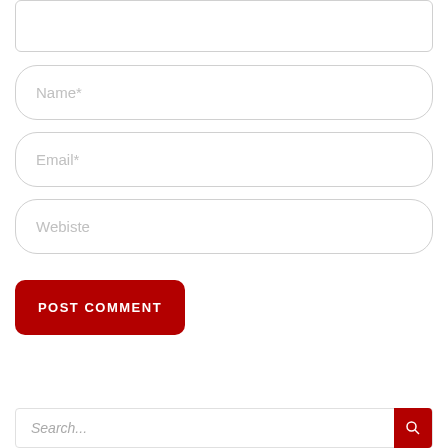[Figure (screenshot): Partial textarea input field at top of comment form]
Name*
Email*
Webiste
POST COMMENT
Search...